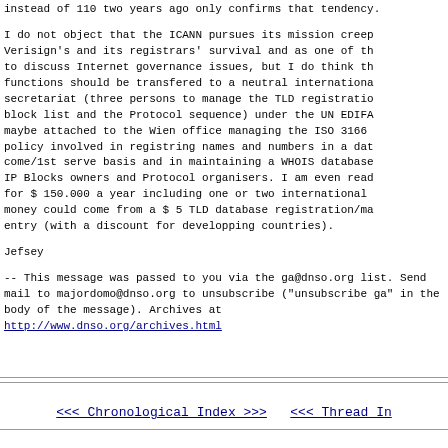instead of 110 two years ago only confirms that tendency.

I do not object that the ICANN pursues its mission creep Verisign's and its registrars' survival and as one of the to discuss Internet governance issues, but I do think th functions should be transfered to a neutral internationa secretariat (three persons to manage the TLD registratio block list and the Protocol sequence) under the UN EDIFA maybe attached to the Wien office managing the ISO 3166 policy involved in registring names and numbers in a dat come/1st serve basis and in maintaining a WHOIS database IP Blocks owners and Protocol organisers. I am even read for $ 150.000 a year including one or two international money could come from a $ 5 TLD database registration/ma entry (with a discount for developping countries).

Jefsey

--
This message was passed to you via the ga@dnso.org list. Send mail to majordomo@dnso.org to unsubscribe ("unsubscribe ga" in the body of the message). Archives at http://www.dnso.org/archives.html
<< Chronological Index >>>     <<< Thread In